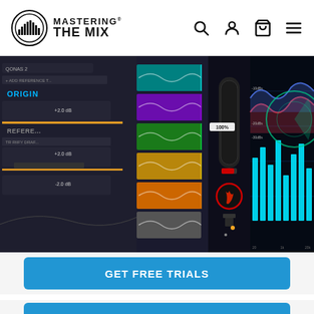[Figure (logo): Mastering The Mix logo — circular speaker/waveform icon with text 'MASTERING THE MIX']
[Figure (screenshot): Hero banner showing multiple audio plugin UIs: a reference track comparator with colored channel strips, a microphone/mastering plugin, and a spectrum analyzer with cyan EQ bars on a dark background.]
[Figure (other): GET FREE TRIALS call-to-action button in blue]
[Figure (other): Partial blue button visible at bottom of page]